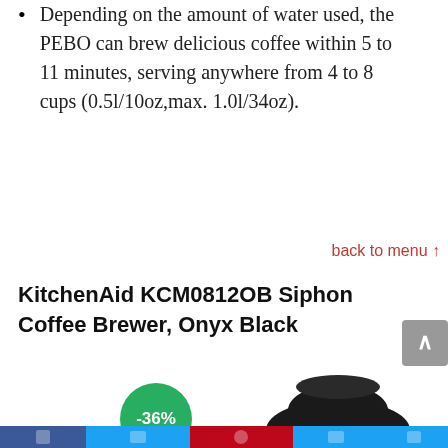Depending on the amount of water used, the PEBO can brew delicious coffee within 5 to 11 minutes, serving anywhere from 4 to 8 cups (0.5l/10oz,max. 1.0l/34oz).
back to menu ↑
KitchenAid KCM0812OB Siphon Coffee Brewer, Onyx Black
[Figure (photo): Product image of KitchenAid KCM0812OB Siphon Coffee Brewer in Onyx Black, with a -36% discount badge in green circle]